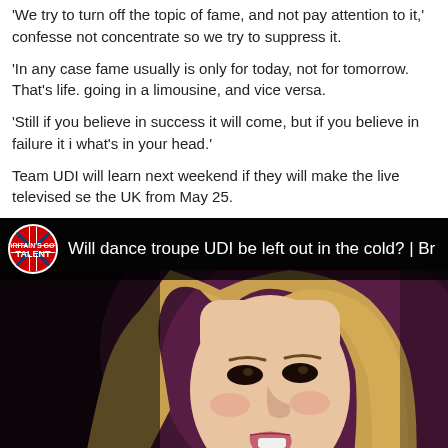'We try to turn off the topic of fame, and not pay attention to it,' confesse not concentrate so we try to suppress it.
'In any case fame usually is only for today, not for tomorrow. That's life. going in a limousine, and vice versa.
'Still if you believe in success it will come, but if you believe in failure it i what's in your head.'
Team UDI will learn next weekend if they will make the live televised se the UK from May 25.
[Figure (screenshot): YouTube video thumbnail showing 'Will dance troupe UDI be left out in the cold? | Br' with Britain's Got Talent logo and a blonde woman judge on a dark background]